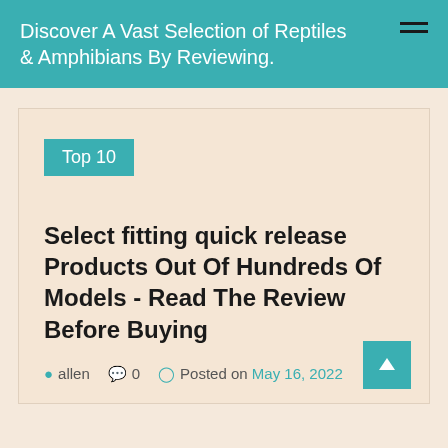Discover A Vast Selection of Reptiles & Amphibians By Reviewing.
Top 10
Select fitting quick release Products Out Of Hundreds Of Models - Read The Review Before Buying
allen  0  Posted on May 16, 2022